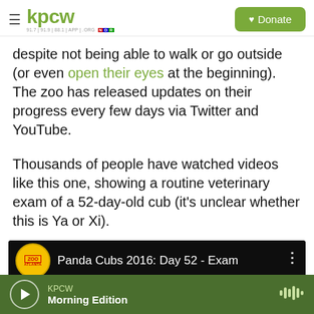kpcw — 91.7 | 91.9 | 88.1 | APP | .ORG — NPR — Donate
despite not being able to walk or go outside (or even open their eyes at the beginning). The zoo has released updates on their progress every few days via Twitter and YouTube.
Thousands of people have watched videos like this one, showing a routine veterinary exam of a 52-day-old cub (it's unclear whether this is Ya or Xi).
[Figure (screenshot): YouTube video thumbnail showing 'Panda Cubs 2016: Day 52 - Exam' with Zoo Atlanta logo, hands examining a panda cub]
KPCW — Morning Edition (audio player bar)